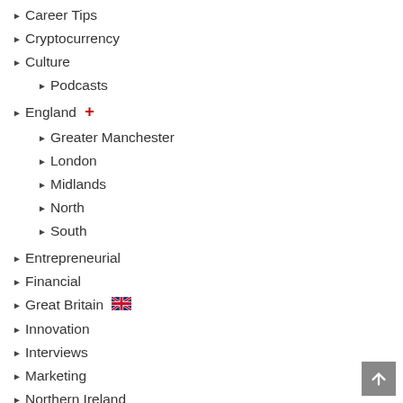Career Tips
Cryptocurrency
Culture
Podcasts
England +
Greater Manchester
London
Midlands
North
South
Entrepreneurial
Financial
Great Britain
Innovation
Interviews
Marketing
Northern Ireland
Overseas (British Isles)
People
Press Releases
Scotland